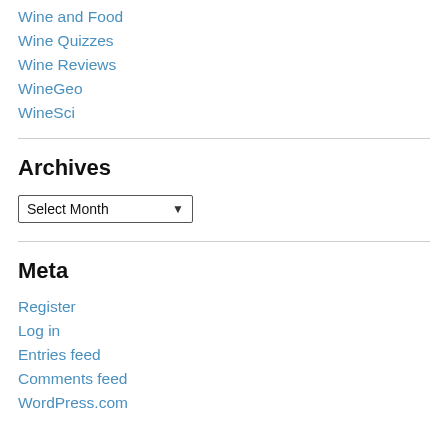Wine and Food
Wine Quizzes
Wine Reviews
WineGeo
WineSci
Archives
Select Month
Meta
Register
Log in
Entries feed
Comments feed
WordPress.com